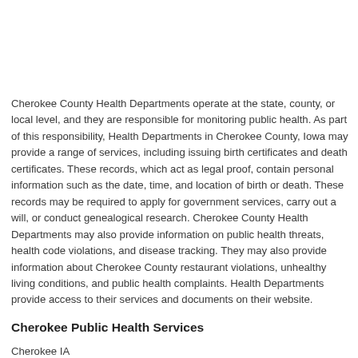Cherokee County Health Departments operate at the state, county, or local level, and they are responsible for monitoring public health. As part of this responsibility, Health Departments in Cherokee County, Iowa may provide a range of services, including issuing birth certificates and death certificates. These records, which act as legal proof, contain personal information such as the date, time, and location of birth or death. These records may be required to apply for government services, carry out a will, or conduct genealogical research. Cherokee County Health Departments may also provide information on public health threats, health code violations, and disease tracking. They may also provide information about Cherokee County restaurant violations, unhealthy living conditions, and public health complaints. Health Departments provide access to their services and documents on their website.
Cherokee Public Health Services
Cherokee IA